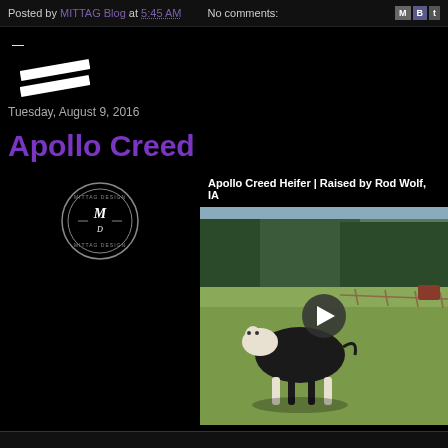Posted by MITTAG Blog at 5:45 AM   No comments:
Tuesday, August 9, 2016
Apollo Creed
[Figure (logo): MITTAG Design circular logo in white on black]
[Figure (screenshot): Video thumbnail showing Apollo Creed Heifer raised by Rod Wolf IA — black and white cow walking in a green field with play button overlay. Title bar reads: Apollo Creed Heifer | Raised by Rod Wolf, IA]